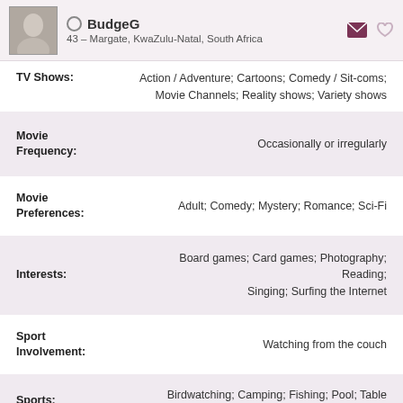BudgeG
43 – Margate, KwaZulu-Natal, South Africa
TV Shows: Action / Adventure; Cartoons; Comedy / Sit-coms; Movie Channels; Reality shows; Variety shows
Movie Frequency: Occasionally or irregularly
Movie Preferences: Adult; Comedy; Mystery; Romance; Sci-Fi
Interests: Board games; Card games; Photography; Reading; Singing; Surfing the Internet
Sport Involvement: Watching from the couch
Sports: Birdwatching; Camping; Fishing; Pool; Table Tennis